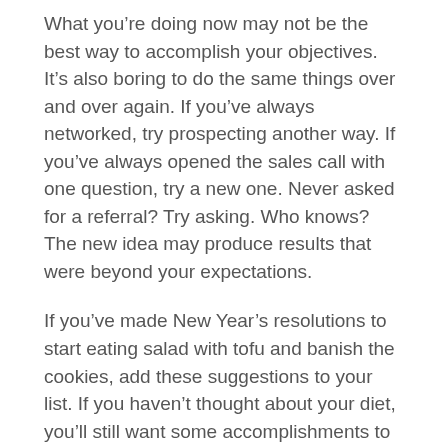What you’re doing now may not be the best way to accomplish your objectives. It’s also boring to do the same things over and over again. If you’ve always networked, try prospecting another way. If you’ve always opened the sales call with one question, try a new one. Never asked for a referral? Try asking. Who knows? The new idea may produce results that were beyond your expectations.
If you’ve made New Year’s resolutions to start eating salad with tofu and banish the cookies, add these suggestions to your list. If you haven’t thought about your diet, you’ll still want some accomplishments to celebrate this year. With these resolutions, it will be even better than dessert when you achieve great sales results. Best wishes for your successful selling new year.